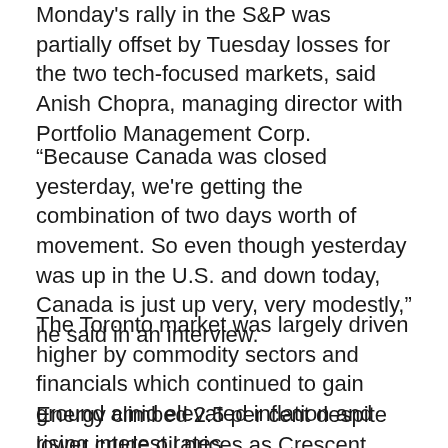Monday's rally in the S&P was partially offset by Tuesday losses for the two tech-focused markets, said Anish Chopra, managing director with Portfolio Management Corp.
“Because Canada was closed yesterday, we're getting the combination of two days worth of movement. So even though yesterday was up in the U.S. and down today, Canada is just up very, very modestly,” he said in an interview.
The Toronto market was largely driven higher by commodity sectors and financials which continued to gain ground amid elevated inflation and rising interest rates.
Energy climbed 2.5 per cent despite lower crude oil prices as Crescent Point Energy Corp.